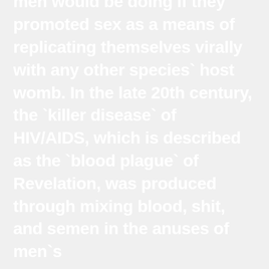`Betraying the host womb of the human species is what men would be doing if they promoted sex as a means of replicating themselves virally with any other species` host womb. In the late 20th century, the `killer disease` of HIV/AIDS, which is described as the `blood plague` of Revelation, was produced through mixing blood, shit, and semen in the anuses of men`s